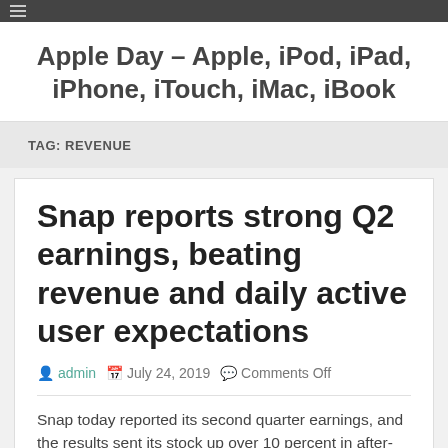Apple Day – Apple, iPod, iPad, iPhone, iTouch, iMac, iBook
TAG: REVENUE
Snap reports strong Q2 earnings, beating revenue and daily active user expectations
admin  July 24, 2019  Comments Off
Snap today reported its second quarter earnings, and the results sent its stock up over 10 percent in after-